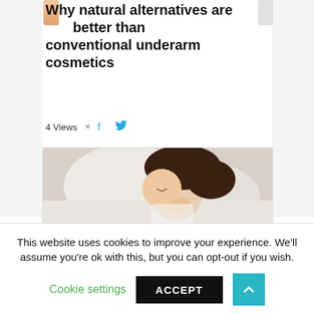Why natural alternatives are better than conventional underarm cosmetics
4 Views  ×
[Figure (photo): Woman lying in bed on white sheets, smiling, with dark wavy hair, wearing a white top. A HEALTH tag overlay is shown in the lower left of the image.]
HEALTH
Supplementing with magnesium for better
This website uses cookies to improve your experience. We'll assume you're ok with this, but you can opt-out if you wish.
Cookie settings   ACCEPT